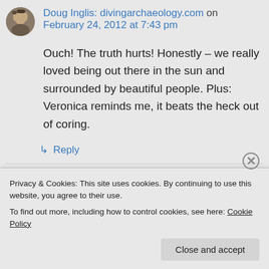Doug Inglis: divingarchaeology.com on February 24, 2012 at 7:43 pm
Ouch! The truth hurts! Honestly – we really loved being out there in the sun and surrounded by beautiful people. Plus: Veronica reminds me, it beats the heck out of coring.
↳ Reply
Privacy & Cookies: This site uses cookies. By continuing to use this website, you agree to their use. To find out more, including how to control cookies, see here: Cookie Policy
Close and accept